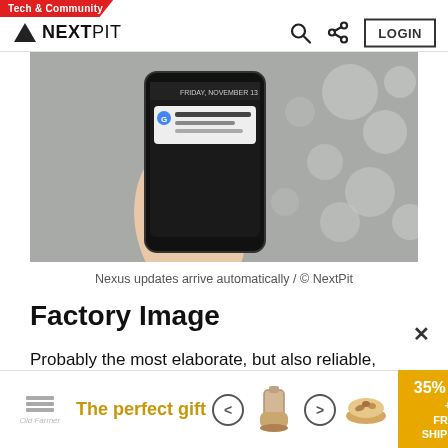Tech & Community | NEXTPIT | LOGIN
[Figure (photo): A hand holding a smartphone displaying an Android update notification screen, bokeh background]
Nexus updates arrive automatically / © NextPit
Factory Image
Probably the most elaborate, but also reliable, way to install a new Android version on a Nexus is via the Factory Image. After this process your Nexus will have reverted back to the factory settings and all your data will have been erased. Back up your photos, address book, SMS, and call history before you opt to update
[Figure (other): Advertisement banner: 'The perfect gift' with food bowl imagery, 35% OFF + FREE SHIPPING promo badge]